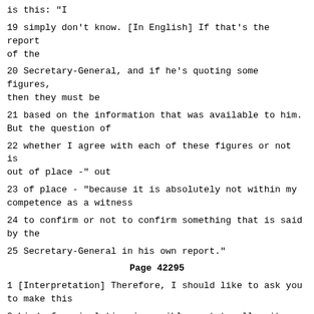is this: "I
19 simply don't know. [In English] If that's the report of the
20 Secretary-General, and if he's quoting some figures, then they must be
21 based on the information that was available to him. But the question of
22 whether I agree with each of these figures or not is out of place -" out
23 of place - "because it is absolutely not within my competence as a witness
24 to confirm or not to confirm something that is said by the
25 Secretary-General in his own report."
Page 42295
1 [Interpretation] Therefore, I should like to ask you to make this
2 kind of manipulation impossible, not to allow it, and it is something that
3 Mr. Nice resorts to fairly frequently.